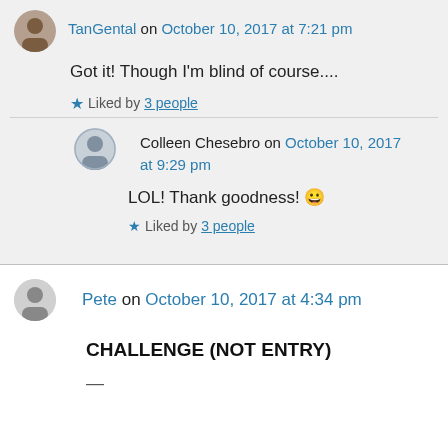TanGental on October 10, 2017 at 7:21 pm
Got it! Though I'm blind of course....
Liked by 3 people
Colleen Chesebro on October 10, 2017 at 9:29 pm
LOL! Thank goodness! 😀
Liked by 3 people
Pete on October 10, 2017 at 4:34 pm
CHALLENGE (NOT ENTRY)
—